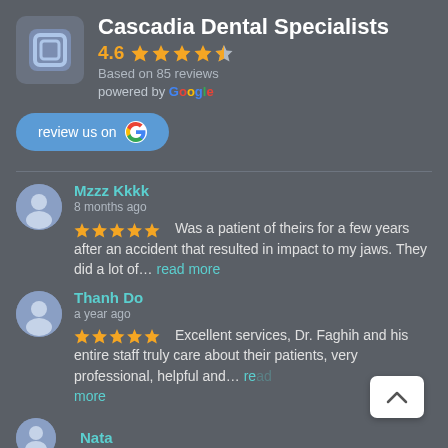Cascadia Dental Specialists
4.6 ★★★★½
Based on 85 reviews
powered by Google
review us on G
Mzzz Kkkk
8 months ago
★★★★★ Was a patient of theirs for a few years after an accident that resulted in impact to my jaws. They did a lot of… read more
Thanh Do
a year ago
★★★★★ Excellent services, Dr. Faghih and his entire staff truly care about their patients, very professional, helpful and… read more
Nata